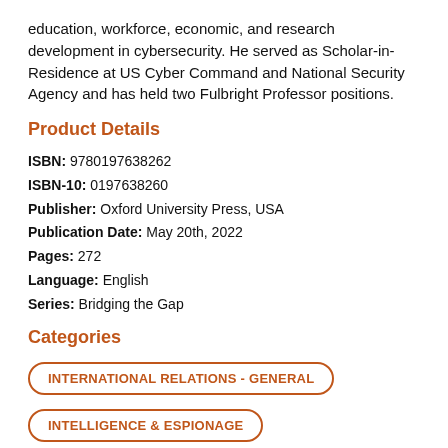education, workforce, economic, and research development in cybersecurity. He served as Scholar-in-Residence at US Cyber Command and National Security Agency and has held two Fulbright Professor positions.
Product Details
ISBN: 9780197638262
ISBN-10: 0197638260
Publisher: Oxford University Press, USA
Publication Date: May 20th, 2022
Pages: 272
Language: English
Series: Bridging the Gap
Categories
INTERNATIONAL RELATIONS - GENERAL
INTELLIGENCE & ESPIONAGE
LIFE SCIENCES - CELL BIOLOGY